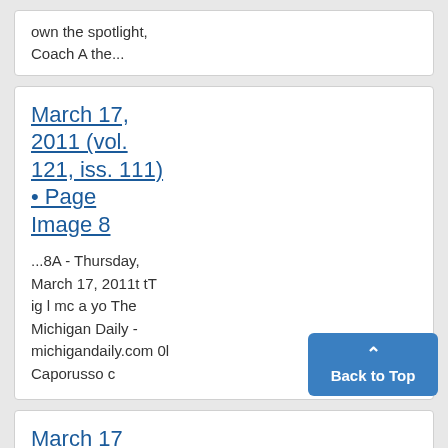own the spotlight, Coach A the...
March 17, 2011 (vol. 121, iss. 111) • Page Image 8
...8A - Thursday, March 17, 2011t tT ig l mc a yo The Michigan Daily - michigandaily.com 0l Caporusso c
March 17,